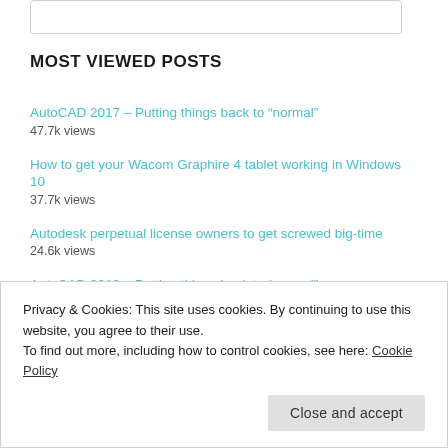MOST VIEWED POSTS
AutoCAD 2017 – Putting things back to “normal”
47.7k views
How to get your Wacom Graphire 4 tablet working in Windows 10
37.7k views
Autodesk perpetual license owners to get screwed big-time
24.6k views
AutoCAD 2012 – Putting things back to “normal”
22.7k views
You can still buy Autodesk perpetual licenses in Europe
20.2k views
Privacy & Cookies: This site uses cookies. By continuing to use this website, you agree to their use.
To find out more, including how to control cookies, see here: Cookie Policy
Close and accept